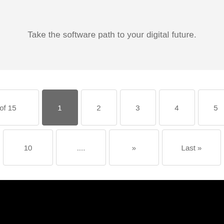Take the software path to your digital future.
[Figure (screenshot): Pagination navigation widget showing 'Page 1 of 15' label and page number buttons: 1 (active/highlighted), 2, 3, 4, 5, ..., 10, ..., », Last»]
[Figure (other): Black footer bar at bottom of page]